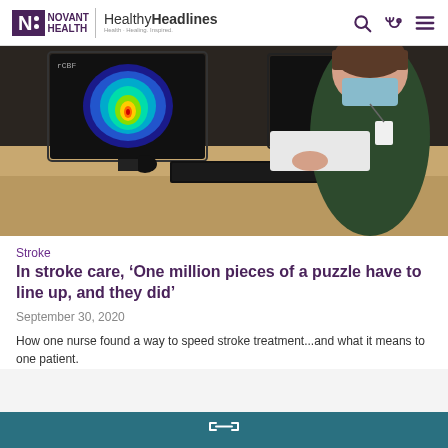Novant Health | Healthy Headlines — Health. Healing. Inspired.
[Figure (photo): A nurse in scrubs and a blue medical mask looks at a computer monitor displaying a colorful brain scan image. She is at a desk with a keyboard and another monitor visible in the background.]
Stroke
In stroke care, ‘One million pieces of a puzzle have to line up, and they did’
September 30, 2020
How one nurse found a way to speed stroke treatment...and what it means to one patient.